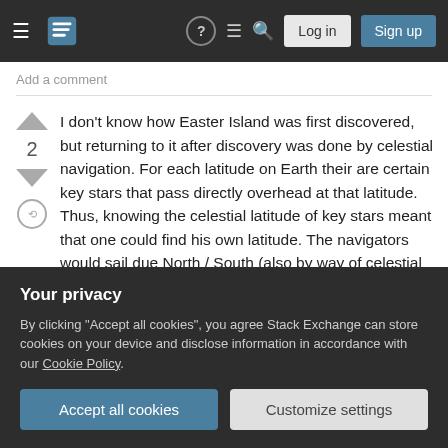Stack Exchange navigation bar with hamburger menu, logo, help, chat, search, Log in, Sign up
Add a comment
I don't know how Easter Island was first discovered, but returning to it after discovery was done by celestial navigation. For each latitude on Earth their are certain key stars that pass directly overhead at that latitude. Thus, knowing the celestial latitude of key stars meant that one could find his own latitude. The navigators would sail due North / South (also by way of celestial navigation, though this is more difficult than other navigation) to get to that lat...
Your privacy
By clicking "Accept all cookies", you agree Stack Exchange can store cookies on your device and disclose information in accordance with our Cookie Policy.
Accept all cookies
Customize settings